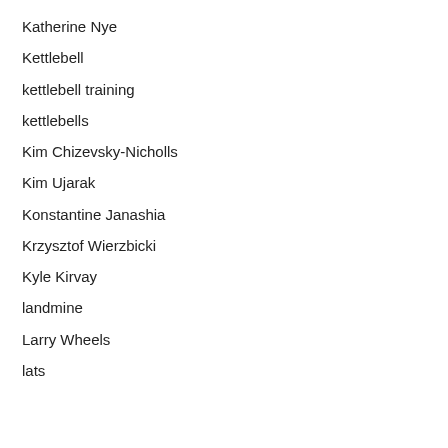Katherine Nye
Kettlebell
kettlebell training
kettlebells
Kim Chizevsky-Nicholls
Kim Ujarak
Konstantine Janashia
Krzysztof Wierzbicki
Kyle Kirvay
landmine
Larry Wheels
lats